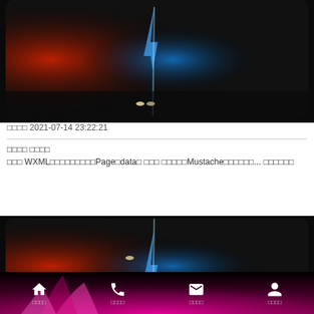[Figure (photo): Dark scene with red glow on left and blue lightning/light streak in center, black background]
发布时间 2021-07-14 23:22:21
标题内容 作者名称
使用 WXML的数据绑定，在Page的data中 定义 变量，通过Mustache语法绑定... 阅读更多
[Figure (photo): Same dark scene with red glow and blue lightning streak, partially visible]
首页  电话  消息  我的